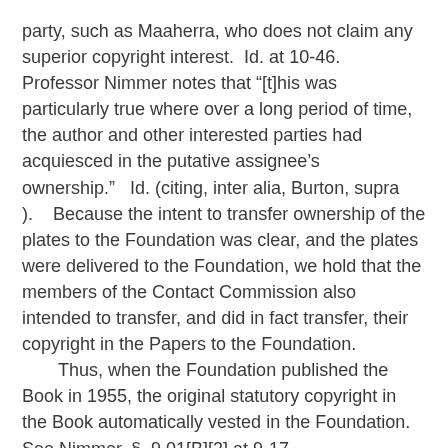party, such as Maaherra, who does not claim any superior copyright interest.  Id. at 10-46.  Professor Nimmer notes that “[t]his was particularly true where over a long period of time, the author and other interested parties had acquiesced in the putative assignee’s ownership.”  Id. (citing, inter alia, Burton, supra ).  Because the intent to transfer ownership of the plates to the Foundation was clear, and the plates were delivered to the Foundation, we hold that the members of the Contact Commission also intended to transfer, and did in fact transfer, their copyright in the Papers to the Foundation.  Thus, when the Foundation published the Book in 1955, the original statutory copyright in the Book automatically vested in the Foundation.  See Nimmer, § 9.01[B][2] at 9-17.
That does not conclude our inquiry, however, because we are dealing here not only with the validity of the original copyright, but with the validity of the renewal.